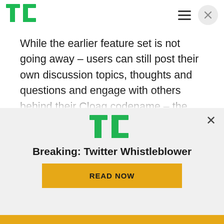TechCrunch header with logo, hamburger menu, and close button
While the earlier feature set is not going away – users can still post their own discussion topics, thoughts and questions and engage with others behind their Cloaq codename – the app has now added a new section called “Summit,” which allows you to discover, read and comment on news stories from around the web, without having to reveal your personal information
[Figure (infographic): TechCrunch promotional ad overlay with TC logo, headline 'Breaking: Twitter Whistleblower', and a yellow 'READ NOW' button. A close (X) button is in the top right of the overlay.]